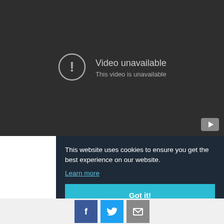[Figure (screenshot): YouTube video player showing error state: dark gray background with a circle-exclamation icon and text 'Video unavailable / This video is unavailable'. YouTube logo button in bottom-right corner.]
This website uses cookies to ensure you get the best experience on our website.
Learn more
Got it!
[Figure (infographic): Social sharing buttons: Facebook (blue), Twitter (light blue), Email (gray)]